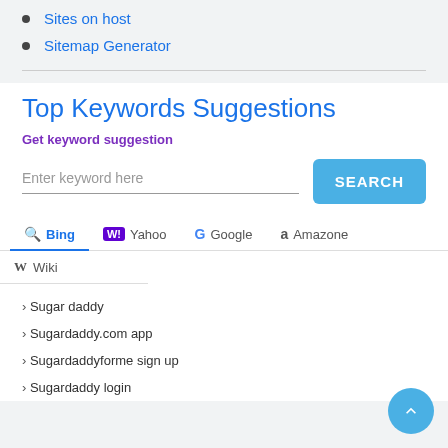Sites on host
Sitemap Generator
Top Keywords Suggestions
Get keyword suggestion
Enter keyword here
SEARCH
Bing  Yahoo  Google  Amazone  Wiki
Sugar daddy
Sugardaddy.com app
Sugardaddyforme sign up
Sugardaddy login